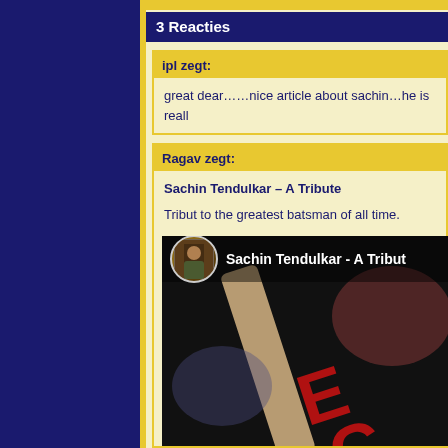3 Reacties
ipl zegt:
great dear……nice article about sachin…he is reall
Ragav zegt:
Sachin Tendulkar – A Tribute
Tribut to the greatest batsman of all time.
[Figure (screenshot): Video thumbnail showing Sachin Tendulkar - A Tribute with cricket bat and avatar circle, dark overlay bar with title text]